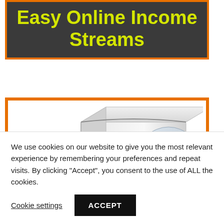Easy Online Income Streams
[Figure (photo): A product box or book with a globe graphic and colorful branding elements, partially visible inside an orange-bordered white frame]
We use cookies on our website to give you the most relevant experience by remembering your preferences and repeat visits. By clicking “Accept”, you consent to the use of ALL the cookies.
Cookie settings
ACCEPT